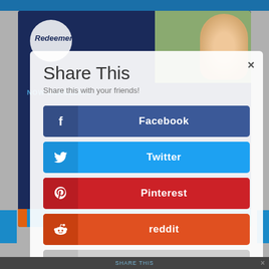[Figure (screenshot): Screenshot of a website with a 'Share This' modal dialog overlay. The background shows a dark blue website header with an orange stripe, a logo reading 'Redeemer', and a photo of a child. The modal has a white/translucent background with a close button (×), title 'Share This', subtitle 'Share this with your friends!', and four social sharing buttons: Facebook (blue), Twitter (light blue), Pinterest (red), reddit (orange-red), and a 'more' button (grey with ellipsis). The page has blue bars at top and bottom edges.]